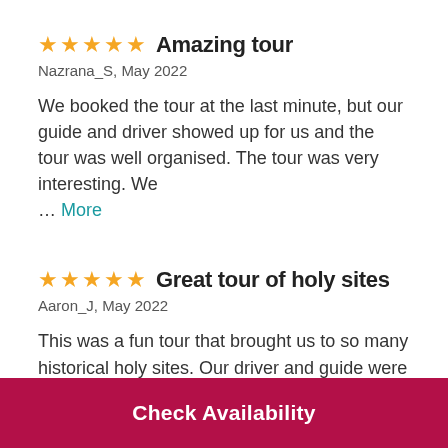★★★★★ Amazing tour
Nazrana_S, May 2022
We booked the tour at the last minute, but our guide and driver showed up for us and the tour was well organised. The tour was very interesting. We … More
★★★★★ Great tour of holy sites
Aaron_J, May 2022
This was a fun tour that brought us to so many historical holy sites. Our driver and guide were
Check Availability